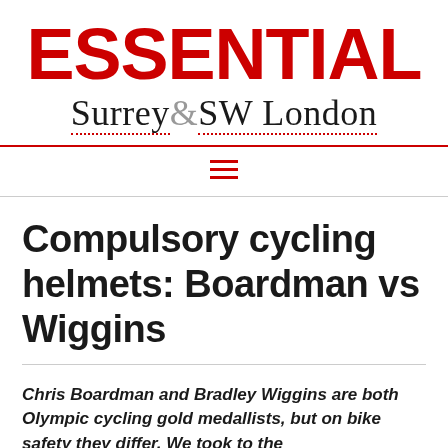ESSENTIAL Surrey & SW London
Compulsory cycling helmets: Boardman vs Wiggins
Chris Boardman and Bradley Wiggins are both Olympic cycling gold medallists, but on bike safety they differ. We took to the